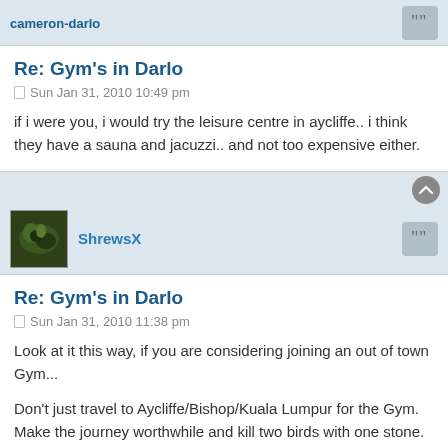cameron-darlo
Re: Gym's in Darlo
Sun Jan 31, 2010 10:49 pm
if i were you, i would try the leisure centre in aycliffe.. i think they have a sauna and jacuzzi.. and not too expensive either.
ShrewsX
Re: Gym's in Darlo
Sun Jan 31, 2010 11:38 pm
Look at it this way, if you are considering joining an out of town Gym...
Don't just travel to Aycliffe/Bishop/Kuala Lumpur for the Gym. Make the journey worthwhile and kill two birds with one stone. If you need to go to the supermarket, instead of two "local" trips (one to the gym, one to the supermarket), you can justify doing ASDA or Morrisons at Bishop, and the Gym at the same time.
Or if you have friends who train with you at Bannatynes, if you all swap to